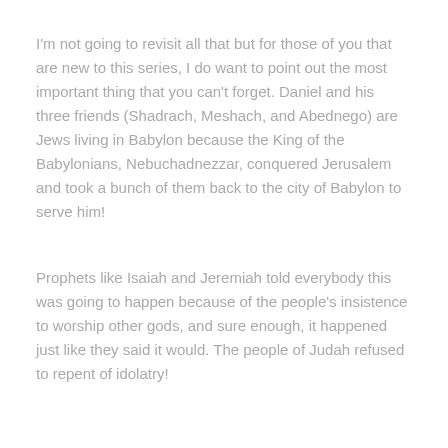I'm not going to revisit all that but for those of you that are new to this series, I do want to point out the most important thing that you can't forget. Daniel and his three friends (Shadrach, Meshach, and Abednego) are Jews living in Babylon because the King of the Babylonians, Nebuchadnezzar, conquered Jerusalem and took a bunch of them back to the city of Babylon to serve him!
Prophets like Isaiah and Jeremiah told everybody this was going to happen because of the people's insistence to worship other gods, and sure enough, it happened just like they said it would. The people of Judah refused to repent of idolatry!